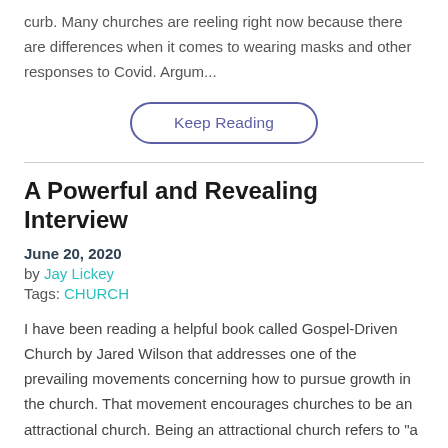curb. Many churches are reeling right now because there are differences when it comes to wearing masks and other responses to Covid. Argum...
Keep Reading
A Powerful and Revealing Interview
June 20, 2020
by Jay Lickey
Tags: CHURCH
I have been reading a helpful book called Gospel-Driven Church by Jared Wilson that addresses one of the prevailing movements concerning how to pursue growth in the church. That movement encourages churches to be an attractional church. Being an attractional church refers to "a way of doing church ministry whose primary purpose is to make church